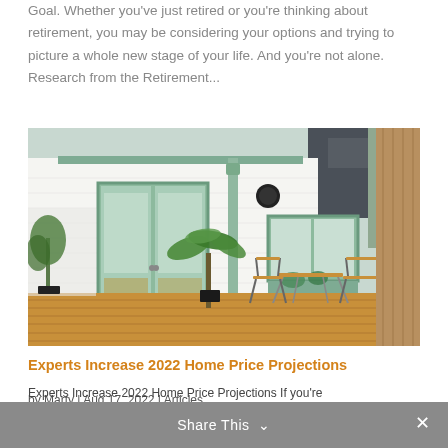Goal. Whether you've just retired or you're thinking about retirement, you may be considering your options and trying to picture a whole new stage of your life. And you're not alone. Research from the Retirement...
[Figure (photo): Exterior photo of a white brick building with sage green French doors and matching window frame. A wooden deck with bistro table and chairs is visible, along with potted tropical plants and a wooden fence.]
Experts Increase 2022 Home Price Projections
by Marty | Aug 17, 2022 | Articles
Experts Increase 2022 Home Price Projections If you're
Share This ∨